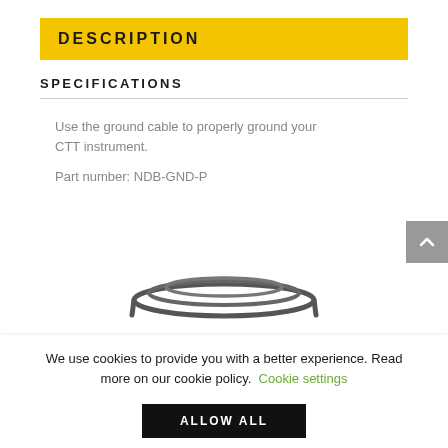Description
Specifications
Use the ground cable to properly ground your CTT instrument.
Part number: NDB-GND-P
[Figure (photo): Partial view of a ground cable coiled/looped]
We use cookies to provide you with a better experience. Read more on our cookie policy. Cookie settings
ALLOW ALL